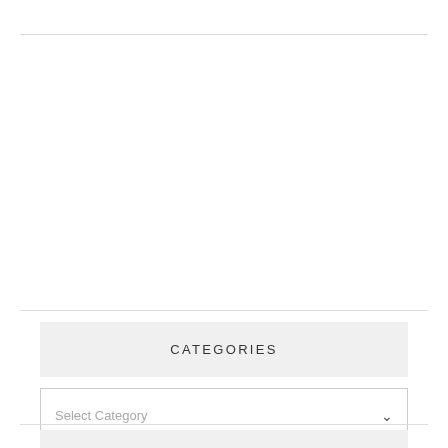CATEGORIES
Select Category
SWEET TREATS